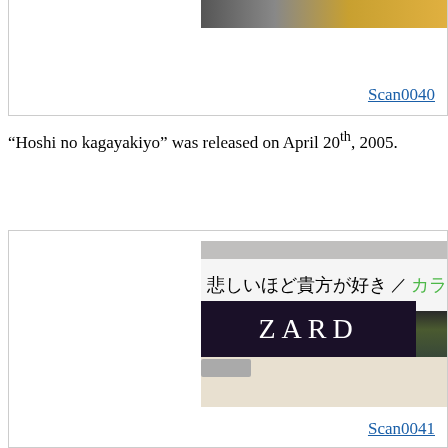[Figure (photo): Partial top image of what appears to be a person, partially cropped at the top of the page]
Scan0040
“Hoshi no kagayakiyo” was released on April 20th, 2005.
[Figure (photo): ZARD single cover art showing 'Kanashii hodo anata ga suki / Karatto' with a woman leaning over a piano and another woman in white shirt, ZARD banner at bottom]
Scan0041